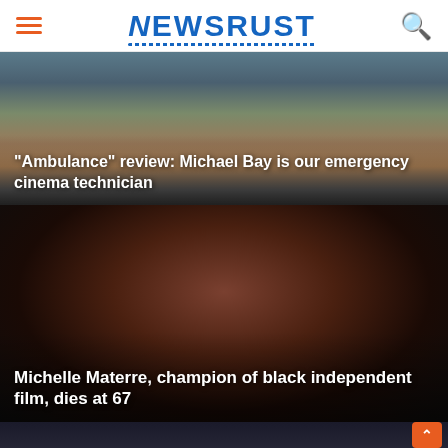NEWSRUST
[Figure (photo): Action movie scene showing an ambulance or emergency vehicle covered in colorful confetti/debris on a city street]
"Ambulance" review: Michael Bay is our emergency cinema technician
[Figure (photo): Portrait of Michelle Materre, an older Black woman with short gray hair, wearing a red top, photographed against a dark background]
Michelle Materre, champion of black independent film, dies at 67
[Figure (photo): Partial view of a person in formal wear at what appears to be an awards ceremony stage]